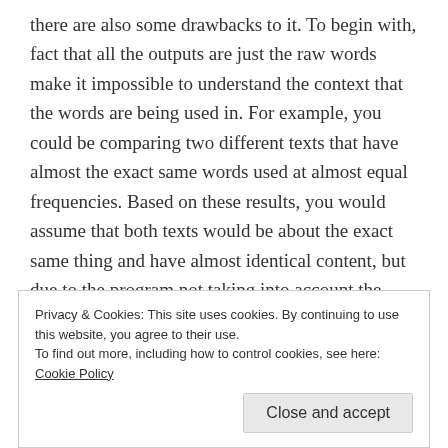there are also some drawbacks to it. To begin with, fact that all the outputs are just the raw words make it impossible to understand the context that the words are being used in. For example, you could be comparing two different texts that have almost the exact same words used at almost equal frequencies. Based on these results, you would assume that both texts would be about the exact same thing and have almost identical content, but due to the program not taking into account the context of the words used they could have completely separate meanings based on how they were used. There is also the problem of a lot of the top words
Privacy & Cookies: This site uses cookies. By continuing to use this website, you agree to their use.
To find out more, including how to control cookies, see here: Cookie Policy
Close and accept